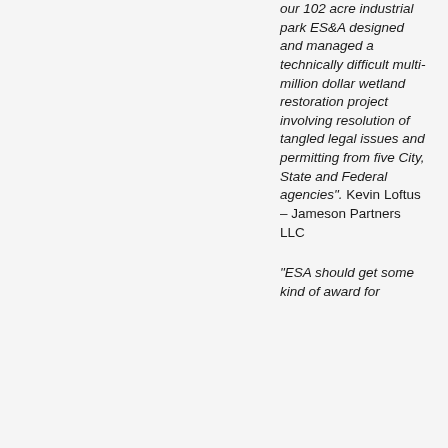our 102 acre industrial park ES&A designed and managed a technically difficult multi-million dollar wetland restoration project involving resolution of tangled legal issues and permitting from five City, State and Federal agencies". Kevin Loftus – Jameson Partners LLC
"ESA should get some kind of award for